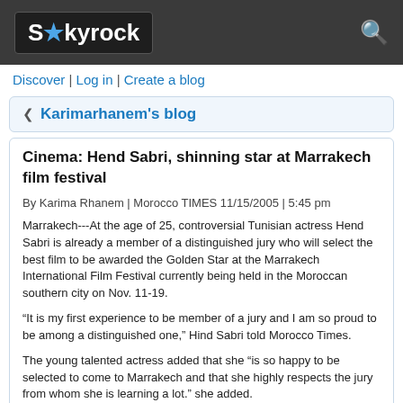Skyrock
Discover | Log in | Create a blog
< Karimarhanem's blog
Cinema: Hend Sabri, shinning star at Marrakech film festival
By Karima Rhanem | Morocco TIMES 11/15/2005 | 5:45 pm
Marrakech---At the age of 25, controversial Tunisian actress Hend Sabri is already a member of a distinguished jury who will select the best film to be awarded the Golden Star at the Marrakech International Film Festival currently being held in the Moroccan southern city on Nov. 11-19.
“It is my first experience to be member of a jury and I am so proud to be among a distinguished one,” Hind Sabri told Morocco Times.
The young talented actress added that she “is so happy to be selected to come to Marrakech and that she highly respects the jury from whom she is learning a lot.” she added.
Members of the jury include, along with Hend Sabri, Annaud (president of the jury), Abdelkebir Khatibi (Moroccan writer), Deepa Mehta (Indian director), Stefania Rocca (Italian actress), Leonor Silveira (Portugoose